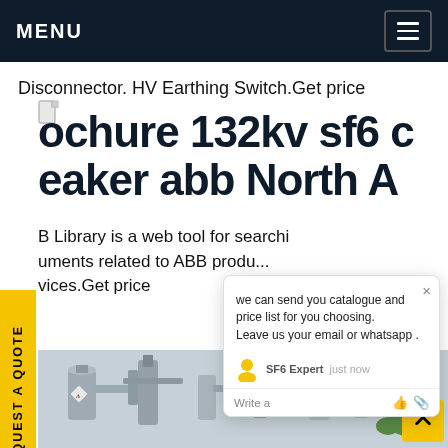MENU
Disconnector. HV Earthing Switch.Get price
ochure 132kv sf6 c eaker abb North A
B Library is a web tool for searchi uments related to ABB produ... vices.Get price
[Figure (photo): Industrial high-voltage SF6 circuit breaker / switchgear equipment photograph]
[Figure (screenshot): Chat popup widget showing message: we can send you catalogue and price list for you choosing. Leave us your email or whatsapp. Agent: SF6 Expert, just now. Write a message interface.]